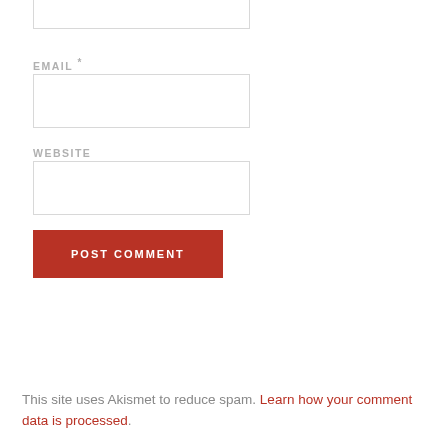EMAIL *
WEBSITE
POST COMMENT
This site uses Akismet to reduce spam. Learn how your comment data is processed.